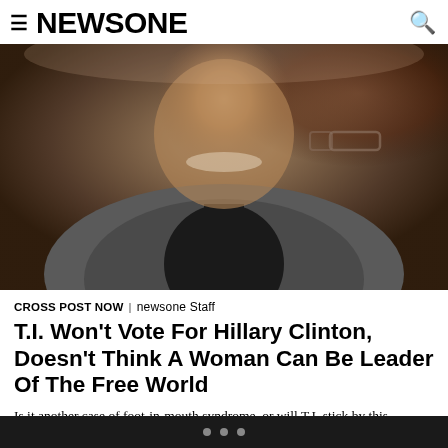NEWSONE
[Figure (photo): A man in a grey suit and black tie smiling, photographed from chest up against a warm dark background. He appears to be at a formal or celebrity event.]
CROSS POST NOW | newsone Staff
T.I. Won't Vote For Hillary Clinton, Doesn't Think A Woman Can Be Leader Of The Free World
Is it another case of foot-in-mouth syndrome, or will T.I. stick by this comment after the inevitable fallout? The Atlanta rapper appeared in an interview with DJ Whoo Kid, and shared that unlike Pharrell Williams, a woman will not earn his vote in the 2016 presidential election. T.I. explained: “Not to be sexist but, I